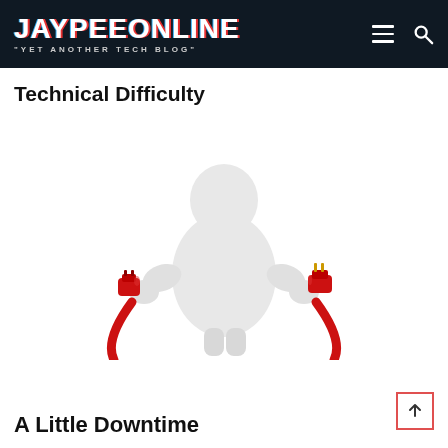JAYPEEONLINE "YET ANOTHER TECH BLOG"
Technical Difficulty
[Figure (illustration): 3D white cartoon figure holding two disconnected red electrical plugs, one in each hand, with red cables curving downward on both sides]
A Little Downtime